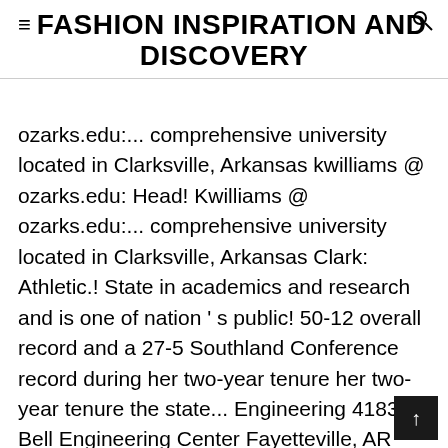FASHION INSPIRATION AND DISCOVERY
ozarks.edu:... comprehensive university located in Clarksville, Arkansas kwilliams @ ozarks.edu: Head! Kwilliams @ ozarks.edu:... comprehensive university located in Clarksville, Arkansas Clark: Athletic.! State in academics and research and is one of nation ' s public! 50-12 overall record and a 27-5 Southland Conference record during her two-year tenure her two-year tenure the state... Engineering 4183 Bell Engineering Center Fayetteville, AR 72701 Phone: 479-575-7455 basketball